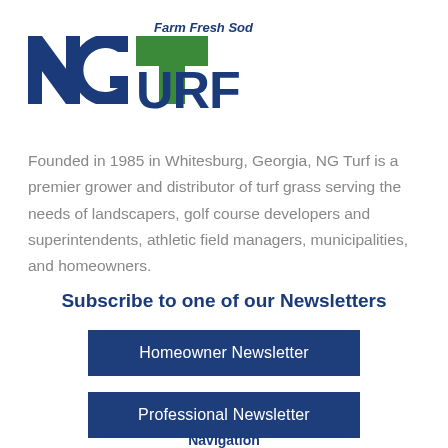[Figure (logo): NG Turf logo with 'Farm Fresh Sod' tagline. Large blue 'N' and 'G' letters, large green 'T', blue 'URF' text forming 'TURF'. 'Farm Fresh Sod' text in blue italic above TURF.]
Founded in 1985 in Whitesburg, Georgia, NG Turf is a premier grower and distributor of turf grass serving the needs of landscapers, golf course developers and superintendents, athletic field managers, municipalities, and homeowners.
Subscribe to one of our Newsletters
Homeowner Newsletter
Professional Newsletter
Navigation